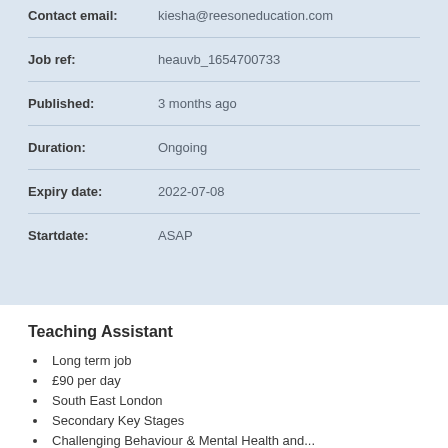Contact email: kiesha@reesoneducation.com
Job ref: heauvb_1654700733
Published: 3 months ago
Duration: Ongoing
Expiry date: 2022-07-08
Startdate: ASAP
Teaching Assistant
Long term job
£90 per day
South East London
Secondary Key Stages
Challenging Behaviour & Mental Health and...